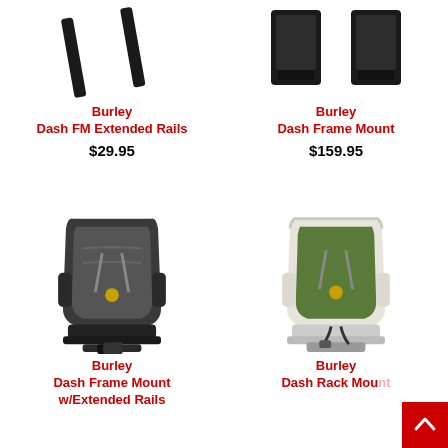[Figure (photo): Burley Dash FM Extended Rails product photo - black metal rails]
Burley
Dash FM Extended Rails
$29.95
[Figure (photo): Burley Dash Frame Mount product photo - dark plastic mounting hardware]
Burley
Dash Frame Mount
$159.95
[Figure (photo): Burley Dash Frame Mount w/Extended Rails - dark gray child bike seat with harness and footrest]
Burley
Dash Frame Mount
w/Extended Rails
[Figure (photo): Burley Dash Rack Mount - white child bike seat with green padding and harness]
Burley
Dash Rack Mou…